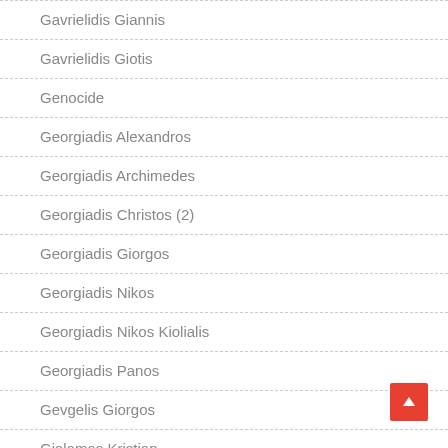Gavrielidis Giannis
Gavrielidis Giotis
Genocide
Georgiadis Alexandros
Georgiadis Archimedes
Georgiadis Christos (2)
Georgiadis Giorgos
Georgiadis Nikos
Georgiadis Nikos Kiolialis
Georgiadis Panos
Gevgelis Giorgos
Gialamas Kristian